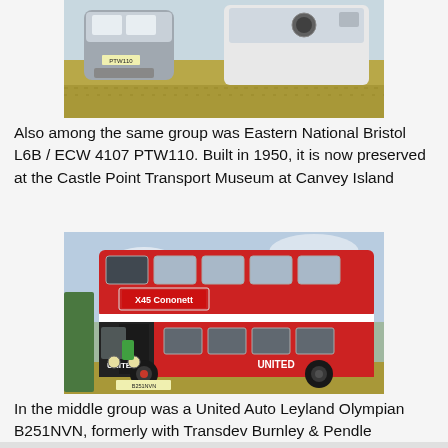[Figure (photo): Photograph of old buses including Eastern National Bristol L6B / ECW 4107 PTW110, showing the front and side of the vehicles parked on grass, registration PTW110 visible]
Also among the same group was Eastern National Bristol L6B / ECW 4107 PTW110. Built in 1950, it is now preserved at the Castle Point Transport Museum at Canvey Island
[Figure (photo): Photograph of a red United Auto Leyland Olympian double-decker bus B251NVN displaying route X45 Cononett, formerly with Transdev Burnley & Pendle, parked on grass]
In the middle group was a United Auto Leyland Olympian B251NVN, formerly with Transdev Burnley & Pendle